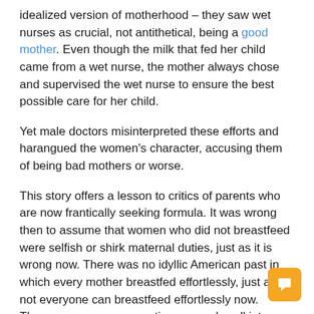idealized version of motherhood – they saw wet nurses as crucial, not antithetical, being a good mother. Even though the milk that fed her child came from a wet nurse, the mother always chose and supervised the wet nurse to ensure the best possible care for her child.
Yet male doctors misinterpreted these efforts and harangued the women's character, accusing them of being bad mothers or worse.
This story offers a lesson to critics of parents who are now frantically seeking formula. It was wrong then to assume that women who did not breastfeed were selfish or shirk maternal duties, just as it is wrong now. There was no idyllic American past in which every mother breastfed effortlessly, just as not everyone can breastfeed effortlessly now. These erroneous assumptions wrongly call into question the love of parents for their children. Worse, much like popular misconceptions of the 17th and 18th centuries, these critics undermine women's bodily autonomy by cruelly assuming they don't know – or care – what's best for them. themselves or their children.